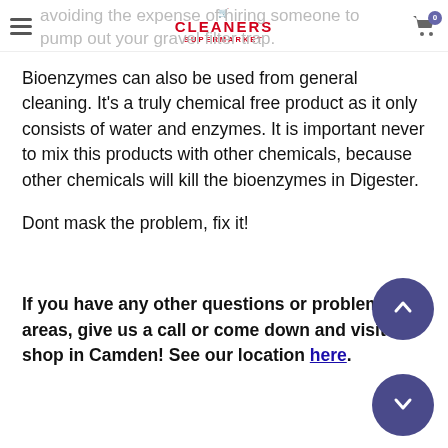CLEANERS SUPERMARKET
avoiding the expense of hiring someone to pump out your gravel filter trap.
Bioenzymes can also be used from general cleaning. It's a truly chemical free product as it only consists of water and enzymes. It is important never to mix this products with other chemicals, because other chemicals will kill the bioenzymes in Digester.
Dont mask the problem, fix it!
If you have any other questions or problem areas, give us a call or come down and visit our shop in Camden! See our location here.